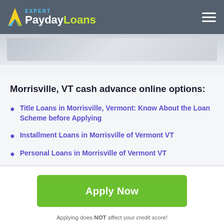EXPERT PaydayLoans
[Figure (photo): Blurred photo banner of hands holding money or a financial scene]
Morrisville, VT cash advance online options:
Title Loans in Morrisville, Vermont: Know About the Loan Scheme before Applying
Installment Loans in Morrisville of Vermont VT
Personal Loans in Morrisville of Vermont VT
Apply Now
Applying does NOT affect your credit score! No credit check to apply.